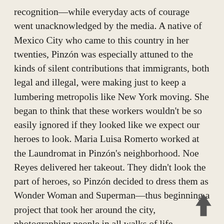recognition—while everyday acts of courage went unacknowledged by the media. A native of Mexico City who came to this country in her twenties, Pinzón was especially attuned to the kinds of silent contributions that immigrants, both legal and illegal, were making just to keep a lumbering metropolis like New York moving. She began to think that these workers wouldn't be so easily ignored if they looked like we expect our heroes to look. Maria Luisa Romerto worked at the Laundromat in Pinzón's neighborhood. Noe Reyes delivered her takeout. They didn't look the part of heroes, so Pinzón decided to dress them as Wonder Woman and Superman—thus beginning a project that took her around the city, photographing people in all walks of life, selecting superheroes to match their jobs.
The resulting images are startling. Each forces us to consider that superheroes are all around us, concealed by